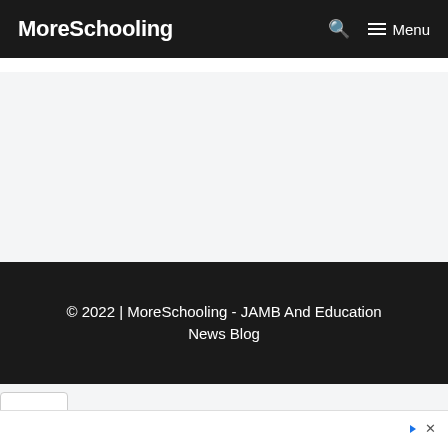MoreSchooling
© 2022 | MoreSchooling - JAMB And Education News Blog
[Figure (other): Advertisement placeholder area (light gray background)]
Keiser Univ. College of Golf - Pursue Your Golf Passion
Find out if a Career in Golf is right for you. Check Out Our Career Guide to Learn More! collegeofgolf.keiseruniversity.edu/